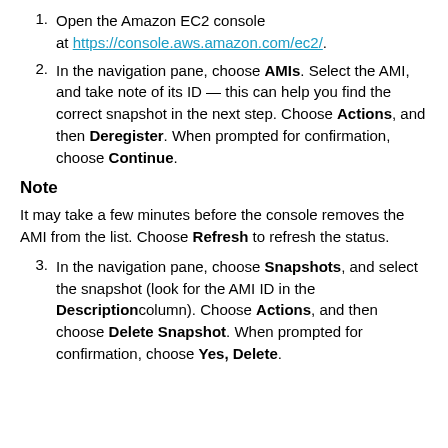1. Open the Amazon EC2 console at https://console.aws.amazon.com/ec2/.
2. In the navigation pane, choose AMIs. Select the AMI, and take note of its ID — this can help you find the correct snapshot in the next step. Choose Actions, and then Deregister. When prompted for confirmation, choose Continue.
Note
It may take a few minutes before the console removes the AMI from the list. Choose Refresh to refresh the status.
3. In the navigation pane, choose Snapshots, and select the snapshot (look for the AMI ID in the Description column). Choose Actions, and then choose Delete Snapshot. When prompted for confirmation, choose Yes, Delete.